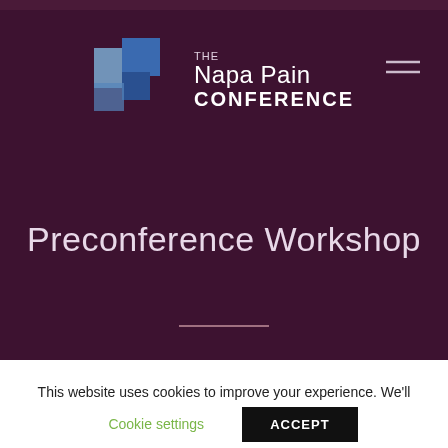[Figure (logo): The Napa Pain Conference logo with blue geometric squares and white text]
Preconference Workshop
This website uses cookies to improve your experience. We'll assume you're ok with this, but you can opt-out if you wish.
Cookie settings  ACCEPT